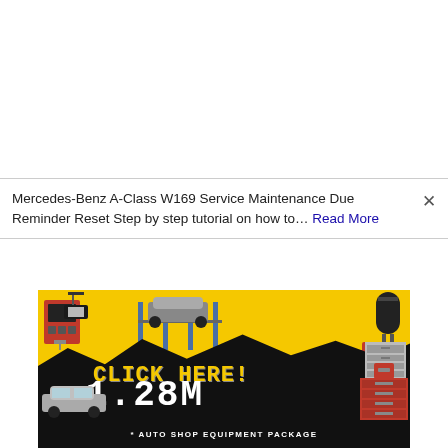Mercedes-Benz A-Class W169 Service Maintenance Due Reminder Reset Step by step tutorial on how to… Read More
[Figure (infographic): Advertisement banner showing auto shop equipment package with text 'CLICK HERE!', '1.28M', and 'AUTO SHOP EQUIPMENT PACKAGE' on a yellow and black background with images of car lift, diagnostic equipment, compressor, floor jack, toolbox, and a car.]